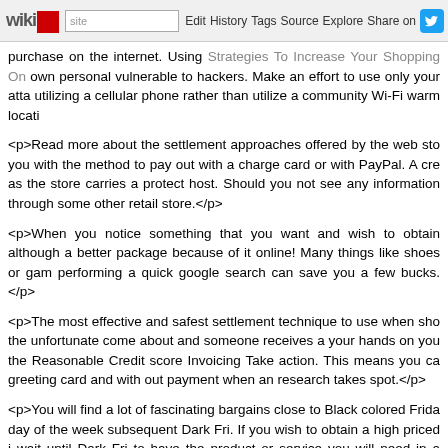wikidot | site | Edit | History | Tags | Source | Explore | Share on [Twitter]
purchase on the internet. Using Strategies To Increase Your Shopping On own personal vulnerable to hackers. Make an effort to use only your atta utilizing a cellular phone rather than utilize a community Wi-Fi warm locati
<p>Read more about the settlement approaches offered by the web sto you with the method to pay out with a charge card or with PayPal. A cre as the store carries a protect host. Should you not see any information through some other retail store.</p>
<p>When you notice something that you want and wish to obtain although a better package because of it online! Many things like shoes or gam performing a quick google search can save you a few bucks.</p>
<p>The most effective and safest settlement technique to use when sho the unfortunate come about and someone receives a your hands on you the Reasonable Credit score Invoicing Take action. This means you ca greeting card and with out payment when an research takes spot.</p>
<p>You will find a lot of fascinating bargains close to Black colored Frida day of the week subsequent Dark Fri. If you wish to obtain a high priced i wait until Dark Fri to have the product or service you will need in a lower p
<p>Do not forget to assessment store when you are searching for iss accomplish this when shopping in bodily merchants, but they don't pond first sale you see, you will discover a chance you are going to lose out on
<p>The positive aspect of shopping online is you can check out differen buy. This allows you to make a price comparison from diverse online st which has run out of your cost range, is far more reasonably priced on a